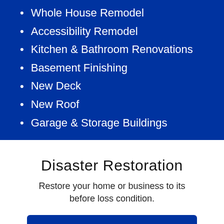Whole House Remodel
Accessibility Remodel
Kitchen & Bathroom Renovations
Basement Finishing
New Deck
New Roof
Garage & Storage Buildings
Disaster Restoration
Restore your home or business to its before loss condition.